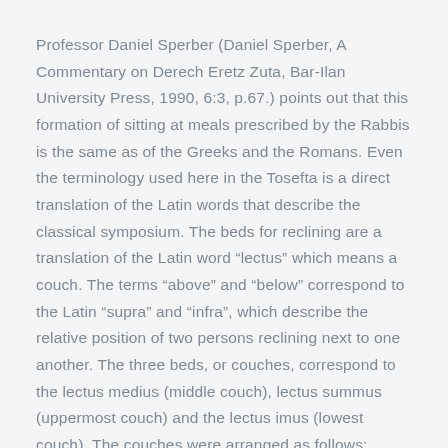Professor Daniel Sperber (Daniel Sperber, A Commentary on Derech Eretz Zuta, Bar-Ilan University Press, 1990, 6:3, p.67.) points out that this formation of sitting at meals prescribed by the Rabbis is the same as of the Greeks and the Romans. Even the terminology used here in the Tosefta is a direct translation of the Latin words that describe the classical symposium. The beds for reclining are a translation of the Latin word “lectus” which means a couch. The terms “above” and “below” correspond to the Latin “supra” and “infra”, which describe the relative position of two persons reclining next to one another. The three beds, or couches, correspond to the lectus medius (middle couch), lectus summus (uppermost couch) and the lectus imus (lowest couch). The couches were arranged as follows: